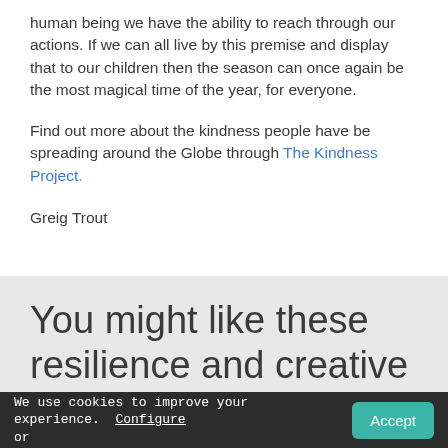human being we have the ability to reach through our actions. If we can all live by this premise and display that to our children then the season can once again be the most magical time of the year, for everyone.
Find out more about the kindness people have be spreading around the Globe through The Kindness Project.
Greig Trout
You might like these resilience and creative
We use cookies to improve your experience. Configure or